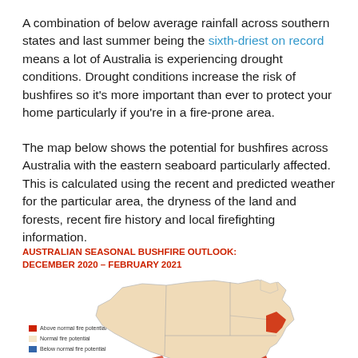A combination of below average rainfall across southern states and last summer being the sixth-driest on record means a lot of Australia is experiencing drought conditions. Drought conditions increase the risk of bushfires so it's more important than ever to protect your home particularly if you're in a fire-prone area.
The map below shows the potential for bushfires across Australia with the eastern seaboard particularly affected. This is calculated using the recent and predicted weather for the particular area, the dryness of the land and forests, recent fire history and local firefighting information.
[Figure (map): Australian Seasonal Bushfire Outlook map for December 2020 – February 2021 showing fire potential across Australia. Legend shows: Above normal fire potential (red), Normal fire potential (light yellow/cream), Below normal fire potential (blue). The map shows most of Australia in normal (cream/tan) tones, with red areas indicating above-normal fire potential concentrated along the eastern seaboard and some southern coastal regions.]